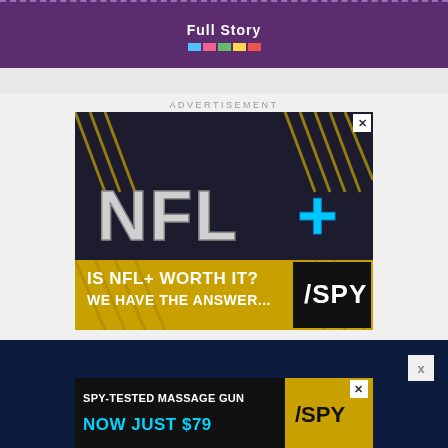Full Story
ADVERTISEMENT
[Figure (screenshot): NFL+ advertisement with large 3D silver NFL+ logo text on dark background with diagonal gold stripes. Bottom section shows yellow/gold diagonal-striped banner with text 'IS NFL+ WORTH IT? WE HAVE THE ANSWER...' and SPY logo in black/yellow.]
[Figure (screenshot): SPY-TESTED MASSAGE GUN advertisement on black/yellow background. Text reads 'SPY-TESTED MASSAGE GUN NOW JUST $79' with SPY logo.]